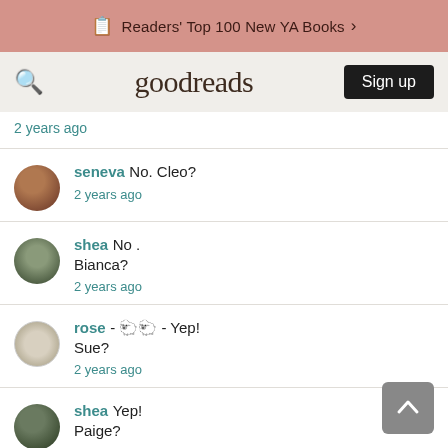Readers' Top 100 New YA Books >
goodreads  Sign up
2 years ago
seneva No. Cleo?
2 years ago
shea No .
Bianca?
2 years ago
rose - 🐑🐑 - Yep!
Sue?
2 years ago
shea Yep!
Paige?